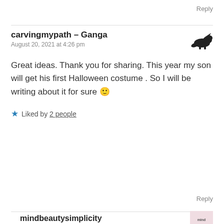Reply
carvingmypath – Ganga
August 20, 2021 at 4:26 pm
Great ideas. Thank you for sharing. This year my son will get his first Halloween costume . So I will be writing about it for sure 🙂
★ Liked by 2 people
Reply
mindbeautysimplicity
August 20, 2021 at 5:13 pm